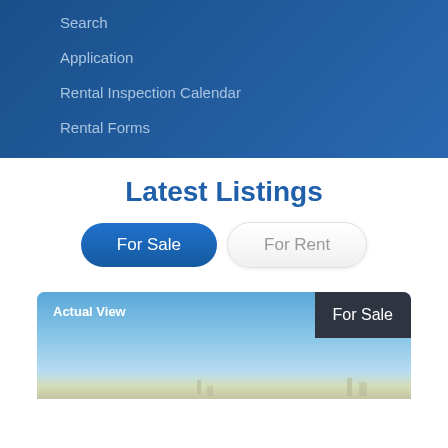Search
Application
Rental Inspection Calendar
Rental Forms
Latest Listings
For Sale
For Rent
[Figure (photo): Property listing photo with 'Actual View' label and 'For Sale' badge, showing a sky background with faint structures at the bottom.]